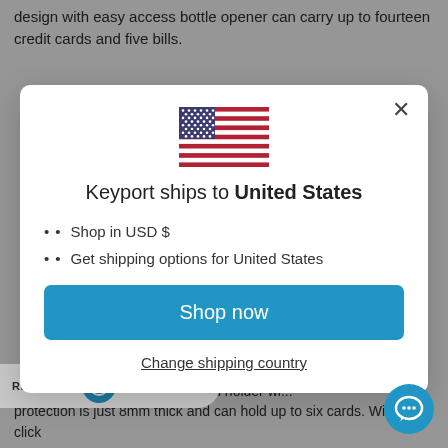design with easy access bottle opener can carry up to fourteen credit cards and five bills.
[Figure (screenshot): Modal dialog box with US flag, 'Keyport ships to United States' heading, bullet list with 'Shop in USD $' and 'Get shipping options for United States', a blue 'Shop now' button, and 'Change shipping country' link. Background shows a webpage with a rewards bar and chat bubble.]
A ... is hard case aluminum card holder wi... protection is just 8mm thick and can hold up to six cards. With a click...